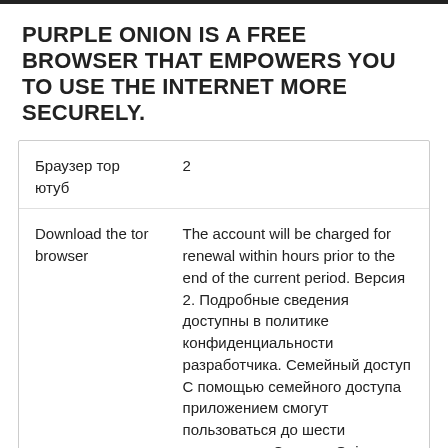PURPLE ONION IS A FREE BROWSER THAT EMPOWERS YOU TO USE THE INTERNET MORE SECURELY.
| Браузер тор ютуб | 2 |
| Download the tor browser | The account will be charged for renewal within hours prior to the end of the current period. Версия 2. Подробные сведения доступны в политике конфиденциальности разработчика. Семейный доступ С помощью семейного доступа приложением смогут пользоваться до шести участников «Семьи». Onion Browser is the original free and open-source Tor-powered web browser for |